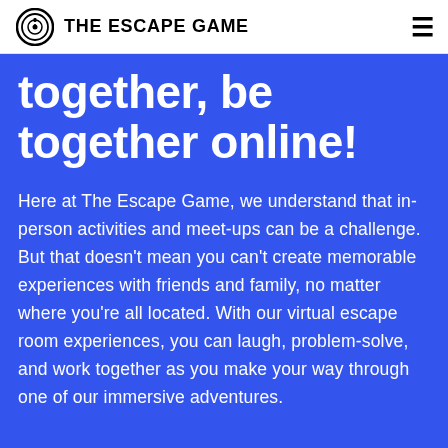THE ESCAPE GAME
together, be together online!
Here at The Escape Game, we understand that in-person activities and meet-ups can be a challenge. But that doesn’t mean you can’t create memorable experiences with friends and family, no matter where you’re all located. With our virtual escape room experiences, you can laugh, problem-solve, and work together as you make your way through one of our immersive adventures.